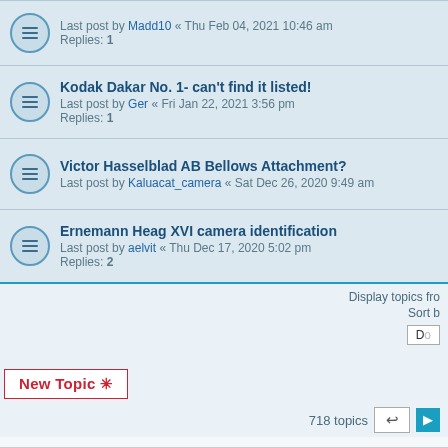Last post by Madd10 « Thu Feb 04, 2021 10:46 am
Replies: 1
Kodak Dakar No. 1- can't find it listed!
Last post by Ger « Fri Jan 22, 2021 3:56 pm
Replies: 1
Victor Hasselblad AB Bellows Attachment?
Last post by Kaluacat_camera « Sat Dec 26, 2020 9:49 am
Ernemann Heag XVI camera identification
Last post by aelvit « Thu Dec 17, 2020 5:02 pm
Replies: 2
Display topics fro
Sort b
New Topic *
718 topics
WHO IS ONLINE
Users browsing this forum: No registered users and 8 guests
FORUM PERMISSIONS
You cannot post new topics in this forum